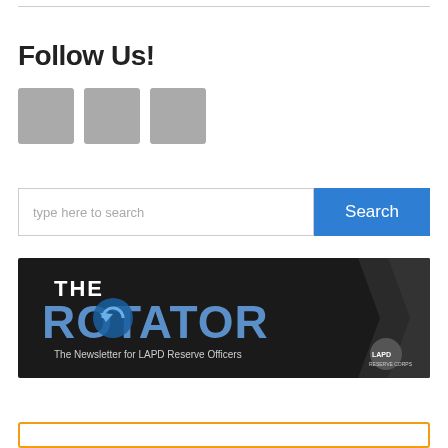Follow Us!
[Figure (other): Three gray social media icon placeholder squares]
[Figure (other): Search bar with text input 'type here to search' and blue Search button]
[Figure (other): The Rotator newsletter banner for LAPD Reserve Officers with LAPD Reserve Corps logo]
[Figure (other): Orange-bordered box partially visible at bottom of page]